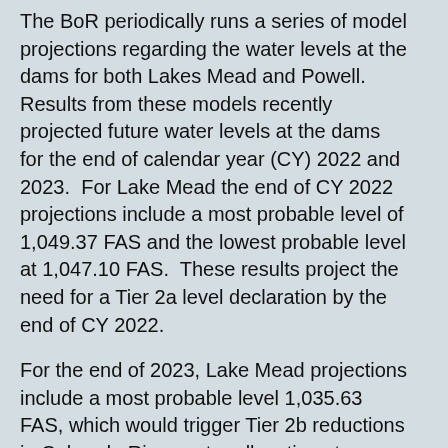The BoR periodically runs a series of model projections regarding the water levels at the dams for both Lakes Mead and Powell.  Results from these models recently projected future water levels at the dams for the end of calendar year (CY) 2022 and 2023.  For Lake Mead the end of CY 2022 projections include a most probable level of 1,049.37 FAS and the lowest probable level at 1,047.10 FAS.  These results project the need for a Tier 2a level declaration by the end of CY 2022.
For the end of 2023, Lake Mead projections include a most probable level 1,035.63 FAS, which would trigger Tier 2b reductions in Colorado River water allocations to Arizona and a most probable minimum level of 1,020.63 FAS, which would necessitate Tier 3 reductions.
Due to the recent changes in river management plans that have been announced by the BoR associated with Lake Powell, these model projections for the end of CY 2022 and 2023 are considered highly relevant to the